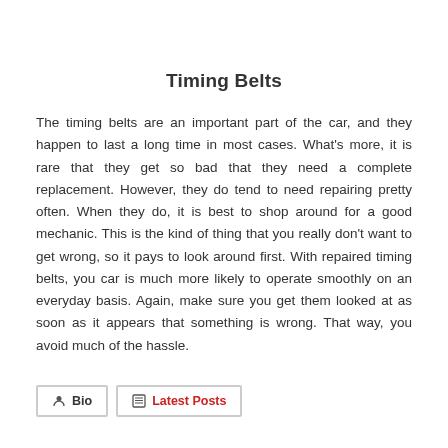Timing Belts
The timing belts are an important part of the car, and they happen to last a long time in most cases. What's more, it is rare that they get so bad that they need a complete replacement. However, they do tend to need repairing pretty often. When they do, it is best to shop around for a good mechanic. This is the kind of thing that you really don't want to get wrong, so it pays to look around first. With repaired timing belts, you car is much more likely to operate smoothly on an everyday basis. Again, make sure you get them looked at as soon as it appears that something is wrong. That way, you avoid much of the hassle.
Bio
Latest Posts